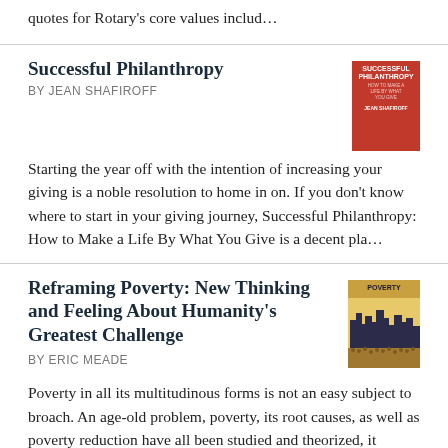quotes for Rotary's core values includ…
Successful Philanthropy
BY JEAN SHAFIROFF
[Figure (illustration): Book cover for Successful Philanthropy, red background with white text]
Starting the year off with the intention of increasing your giving is a noble resolution to home in on. If you don't know where to start in your giving journey, Successful Philanthropy: How to Make a Life By What You Give is a decent pla…
Reframing Poverty: New Thinking and Feeling About Humanity's Greatest Challenge
BY ERIC MEADE
[Figure (illustration): Book cover for Reframing Poverty, showing city skyline with crowds]
Poverty in all its multitudinous forms is not an easy subject to broach. An age-old problem, poverty, its root causes, as well as poverty reduction have all been studied and theorized, it seems, ad infinitum. It